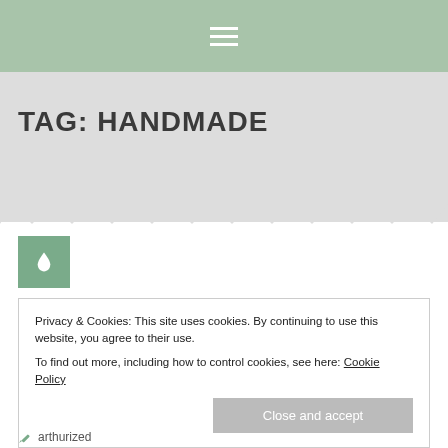Navigation menu (hamburger icon)
TAG: HANDMADE
[Figure (illustration): Green square icon with a white water drop symbol]
Privacy & Cookies: This site uses cookies. By continuing to use this website, you agree to their use.
To find out more, including how to control cookies, see here: Cookie Policy
Close and accept
arthurized